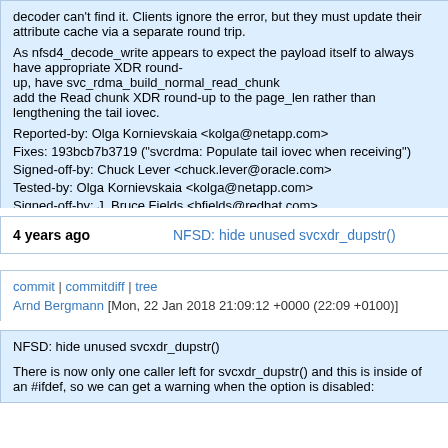decoder can't find it. Clients ignore the error, but they must update their attribute cache via a separate round trip.

As nfsd4_decode_write appears to expect the payload itself to always have appropriate XDR round-up, have svc_rdma_build_normal_read_chunk add the Read chunk XDR round-up to the page_len rather than lengthening the tail iovec.

Reported-by: Olga Kornievskaia <kolga@netapp.com>
Fixes: 193bcb7b3719 ("svcrdma: Populate tail iovec when receiving")
Signed-off-by: Chuck Lever <chuck.lever@oracle.com>
Tested-by: Olga Kornievskaia <kolga@netapp.com>
Signed-off-by: J. Bruce Fields <bfields@redhat.com>
4 years ago   NFSD: hide unused svcxdr_dupstr()
commit | commitdiff | tree
Arnd Bergmann [Mon, 22 Jan 2018 21:09:12 +0000 (22:09 +0100)]
NFSD: hide unused svcxdr_dupstr()

There is now only one caller left for svcxdr_dupstr() and this is inside of an #ifdef, so we can get a warning when the option is disabled: